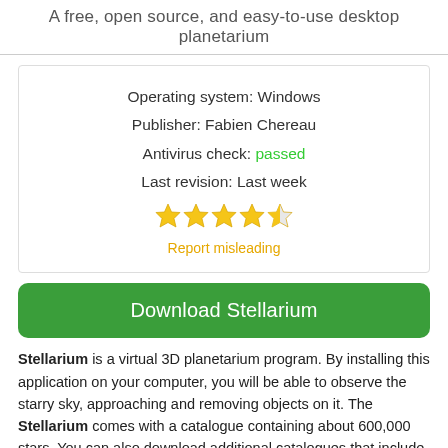A free, open source, and easy-to-use desktop planetarium
Operating system: Windows
Publisher: Fabien Chereau
Antivirus check: passed
Last revision: Last week
[Figure (other): 4.5 out of 5 star rating shown as gold stars]
Report misleading
Download Stellarium
Stellarium is a virtual 3D planetarium program. By installing this application on your computer, you will be able to observe the starry sky, approaching and removing objects on it. The Stellarium comes with a catalogue containing about 600,000 stars. You can also download additional catalogues that include more than 200 million stars in total. The panorama of the starry sky is displayed in a realistic way, based on the